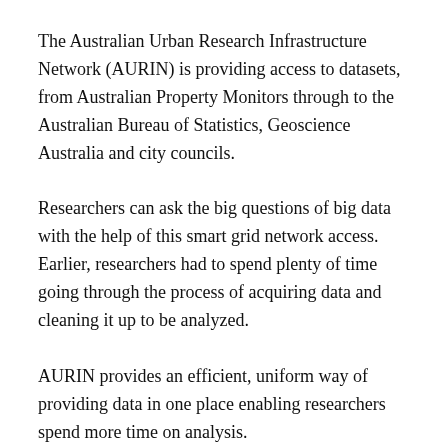The Australian Urban Research Infrastructure Network (AURIN) is providing access to datasets, from Australian Property Monitors through to the Australian Bureau of Statistics, Geoscience Australia and city councils.
Researchers can ask the big questions of big data with the help of this smart grid network access. Earlier, researchers had to spend plenty of time going through the process of acquiring data and cleaning it up to be analyzed.
AURIN provides an efficient, uniform way of providing data in one place enabling researchers spend more time on analysis.